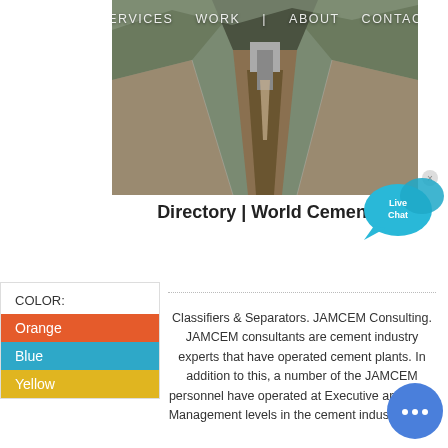[Figure (screenshot): Aerial view of a cement quarry or excavation site with diagonal walls and a central channel, with navigation bar overlay showing SERVICES, WORK, ABOUT, CONTACT]
Directory | World Cement
[Figure (infographic): Live Chat speech bubble widget in cyan/blue]
COLOR:
Orange
Blue
Yellow
Classifiers & Separators. JAMCEM Consulting. JAMCEM consultants are cement industry experts that have operated cement plants. In addition to this, a number of the JAMCEM personnel have operated at Executive and Plant Management levels in the cement industry. Apivi
[Figure (infographic): Blue circular chat button with ellipsis icon]